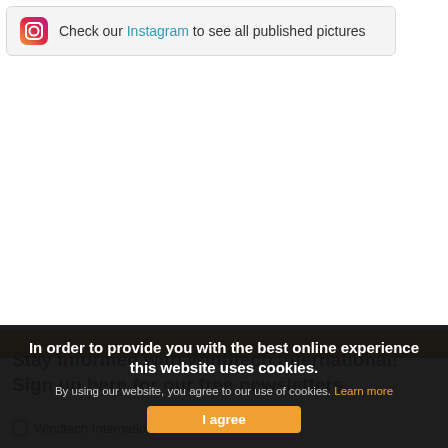Check our Instagram to see all published pictures
[Figure (other): Blank white image area / page content placeholder]
Stay informed with Windtech International! Sign up here for our free newsletters.
Windtech International Newsletter
In order to provide you with the best online experience this website uses cookies. By using our website, you agree to our use of cookies. Learn more
I agree